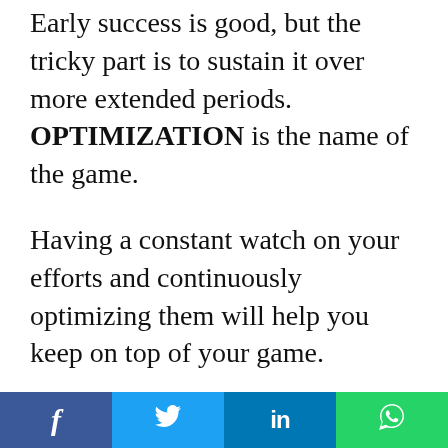Early success is good, but the tricky part is to sustain it over more extended periods. OPTIMIZATION is the name of the game.
Having a constant watch on your efforts and continuously optimizing them will help you keep on top of your game.
I've seen many get complacent over the time when they've tasted early
[Figure (other): Social media share buttons: Facebook (blue), Twitter (light blue), LinkedIn (dark blue), WhatsApp (green)]